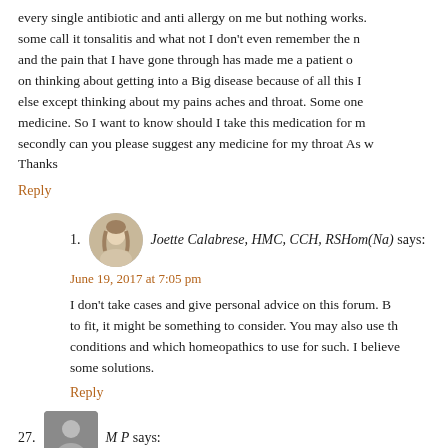every single antibiotic and anti allergy on me but nothing works. some call it tonsalitis and what not I don't even remember the n and the pain that I have gone through has made me a patient o on thinking about getting into a Big disease because of all this I else except thinking about my pains aches and throat. Some one medicine. So I want to know should I take this medication for m secondly can you please suggest any medicine for my throat As w Thanks
Reply
1. Joette Calabrese, HMC, CCH, RSHom(Na) says: June 19, 2017 at 7:05 pm
I don't take cases and give personal advice on this forum. B to fit, it might be something to consider. You may also use th conditions and which homeopathics to use for such. I believe some solutions.
Reply
27. M P says: June 22, 2017 at 8:59 am